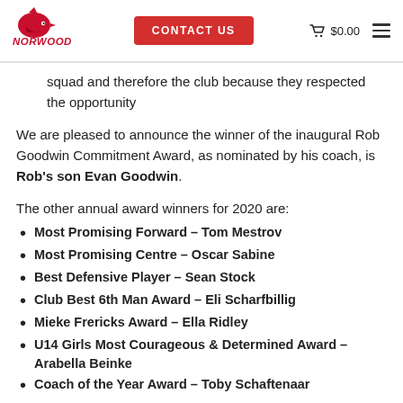Norwood logo, CONTACT US button, $0.00 cart, hamburger menu
squad and therefore the club because they respected the opportunity
We are pleased to announce the winner of the inaugural Rob Goodwin Commitment Award, as nominated by his coach, is Rob's son Evan Goodwin.
The other annual award winners for 2020 are:
Most Promising Forward – Tom Mestrov
Most Promising Centre – Oscar Sabine
Best Defensive Player – Sean Stock
Club Best 6th Man Award – Eli Scharfbillig
Mieke Frericks Award – Ella Ridley
U14 Girls Most Courageous & Determined Award – Arabella Beinke
Coach of the Year Award – Toby Schaftenaar